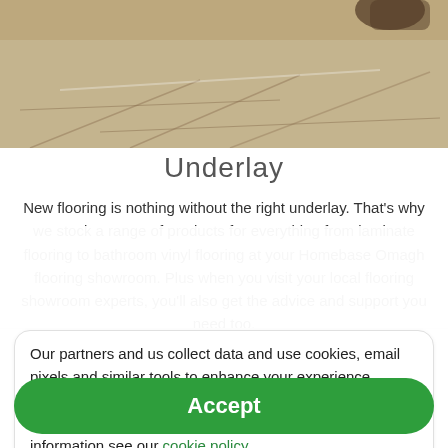[Figure (photo): Photo of flooring underlay being installed, showing laminate panels and a hand placing a board]
Underlay
New flooring is nothing without the right underlay. That's why we stock a range of products for everything from laminate flooring to bathroom vinyl flooring at your Homebase Omagh flooring showroom. Plus when you visit your local flooring showroom experts, you'll also get the advice and support you need too.
Our partners and us collect data and use cookies, email pixels and similar tools to enhance your experience, analyse traffic and for ad personalisation and measurement. One such partner is Google. For more information see our cookie policy.
Accept